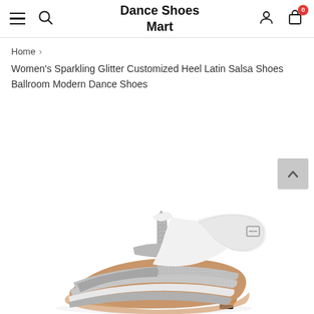Dance Shoes Mart
Home >
Women's Sparkling Glitter Customized Heel Latin Salsa Shoes Ballroom Modern Dance Shoes
[Figure (photo): Close-up photo of a silver glitter women's dance heel shoe with T-strap design and ankle strap with buckle, featuring a flared heel with brown wood finish, displayed against white background.]